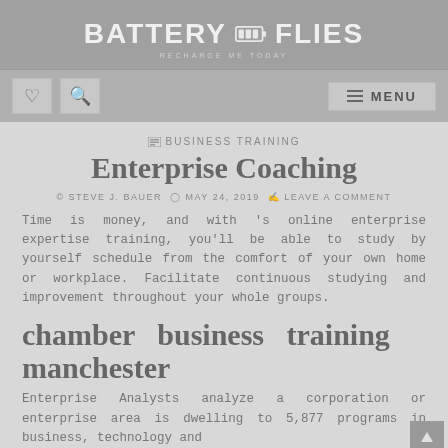BATTERY FLIES
♡  🔍  ≡ MENU
✉ BUSINESS TRAINING
Enterprise Coaching
© STEVE J. BAUER   ⏱ MAY 24, 2019   💬 LEAVE A COMMENT
Time is money, and with 's online enterprise expertise training, you'll be able to study by yourself schedule from the comfort of your own home or workplace. Facilitate continuous studying and improvement throughout your whole groups.
chamber business training manchester
Enterprise Analysts analyze a corporation or enterprise area is dwelling to 5,877 programs in business, technology and